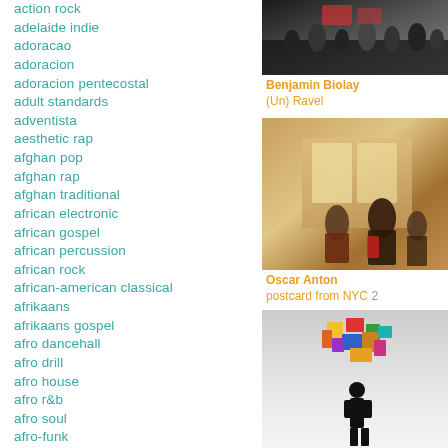action rock
adelaide indie
adoracao
adoracion
adoracion pentecostal
adult standards
adventista
aesthetic rap
afghan pop
afghan rap
afghan traditional
african electronic
african gospel
african percussion
african rock
african-american classical
afrikaans
afrikaans gospel
afro dancehall
afro drill
afro house
afro r&b
afro soul
afro-funk
afrobeat
[Figure (photo): Black and white photo of people at what appears to be a public event or gathering]
Benjamin Biolay
(Un) Ravel
[Figure (photo): Warm-toned photo of people waiting on a subway platform with a train arriving]
Oscar Anton
postcard from NYC 2
[Figure (photo): Photo of a person in black outfit with colorful geometric shapes above]